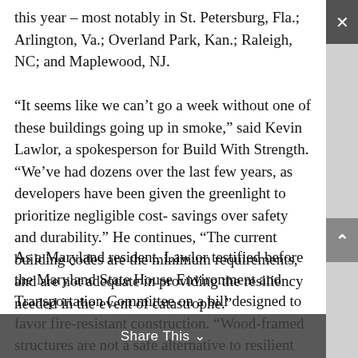this year – most notably in St. Petersburg, Fla.; Arlington, Va.; Overland Park, Kan.; Raleigh, NC; and Maplewood, NJ.
“It seems like we can’t go a week without one of these buildings going up in smoke,” said Kevin Lawlor, a spokesperson for Build With Strength. “We’ve had dozens over the last few years, as developers have been given the greenlight to prioritize negligible cost-savings over safety and durability.” He continues, “The current building codes are the minimum requirements, and are not adequate in providing the resiliency needed in the event of catastrophe.”
As a Maryland resident, Lawlor testified before the Maryland State House Environment and Transportation Committee on a bill designed to favor fire-resistant construction. “Wood-framed structures are not a safe alternative to resilient construction materials like concrete,” he testified. “The Maryland Senate…”